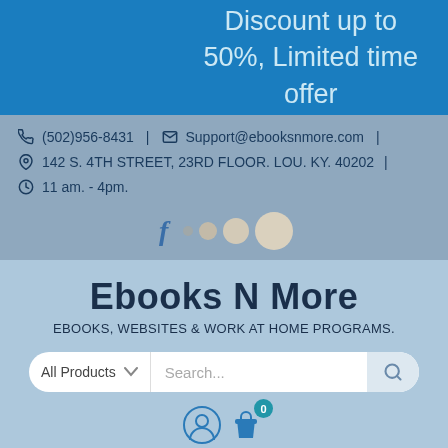Discount up to 50%, Limited time offer
(502)956-8431 | Support@ebooksnmore.com |
142 S. 4TH STREET, 23RD FLOOR. LOU. KY. 40202 |
11 am. - 4pm.
Ebooks N More
EBOOKS, WEBSITES & WORK AT HOME PROGRAMS.
All Products Search...